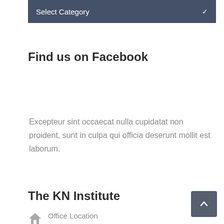Select Category
Find us on Facebook
Excepteur sint occaecat nulla cupidatat non proident, sunt in culpa qui officia deserunt mollit est laborum.
The KN Institute
Office Location
278 19th Avenue